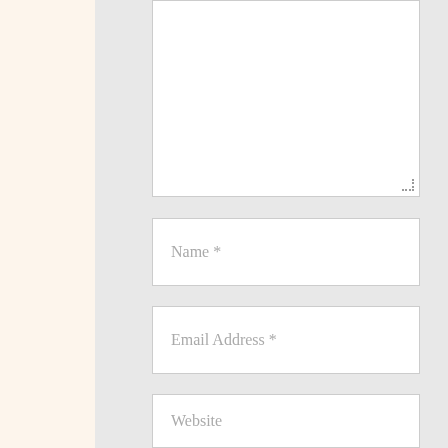[Figure (screenshot): A comment form section showing a textarea at top (partially visible), followed by three input fields labeled 'Name *', 'Email Address *', and 'Website', then three checkbox items: 'Save my name, email, and website in this browser for the next time I comment.', 'Notify me of follow-up comments by email.', and 'Notify me of new posts by email.']
Name *
Email Address *
Website
Save my name, email, and website in this browser for the next time I comment.
Notify me of follow-up comments by email.
Notify me of new posts by email.